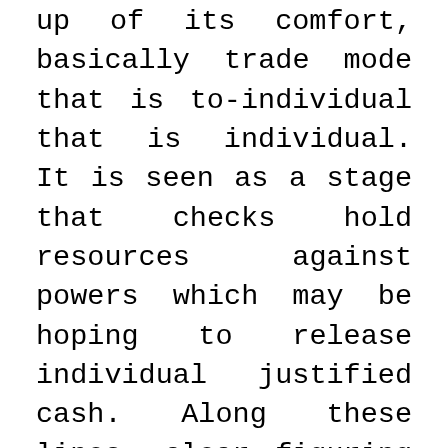up of its comfort, basically trade mode that is to-individual that is individual. It is seen as a stage that checks hold resources against powers which may be hoping to release individual justified cash. Along these lines, clear figuring methods on PC applications and using control can help a lot in attesting hypothesis capital. It is viewed as the latest development in genuine cash. As such, event is being gotten by it as a persuading reimbursement structure without physical money's foundation. This